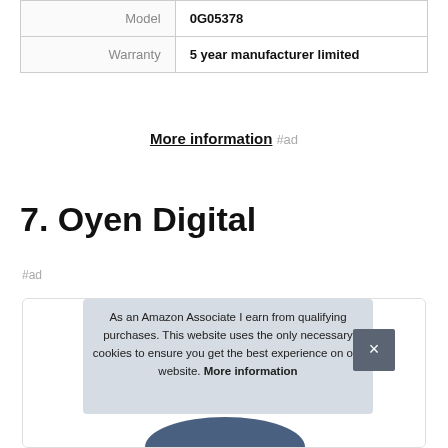| Model | 0G05378 |
| Warranty | 5 year manufacturer limited |
More information #ad
7. Oyen Digital
#ad
As an Amazon Associate I earn from qualifying purchases. This website uses the only necessary cookies to ensure you get the best experience on our website. More information